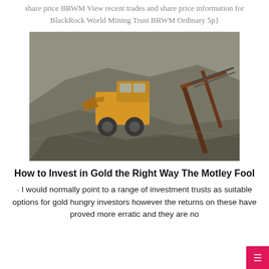share price BRWM View recent trades and share price information for BlackRock World Mining Trust BRWM Ordinary 5p}
[Figure (photo): A mining site photo showing a front-end loader/bulldozer working with large piles of grey ore or rock material, with a conveyor belt structure visible on the right side.]
How to Invest in Gold the Right Way The Motley Fool
· I would normally point to a range of investment trusts as suitable options for gold hungry investors however the returns on these have proved more erratic and they are no